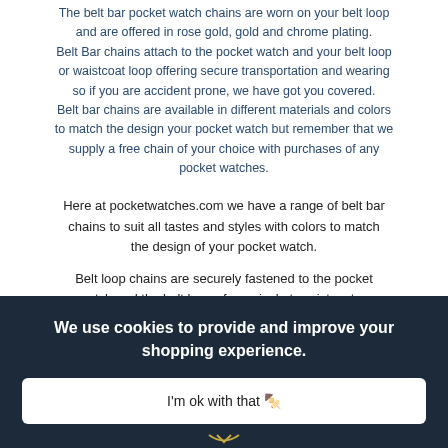The belt bar pocket watch chains are worn on your belt loop and are offered in rose gold, gold and chrome plating. Belt Bar chains attach to the pocket watch and your belt loop or waistcoat loop offering secure transportation and wearing so if you are accident prone, we have got you covered. Belt bar chains are available in different materials and colors to match the design your pocket watch but remember that we supply a free chain of your choice with purchases of any pocket watches.
Here at pocketwatches.com we have a range of belt bar chains to suit all tastes and styles with colors to match the design of your pocket watch.
Belt loop chains are securely fastened to the pocket watch and the belt loop of your jacket, waistcoat or trousers.
We use cookies to provide and improve your shopping experience.
I'm ok with that 🍪